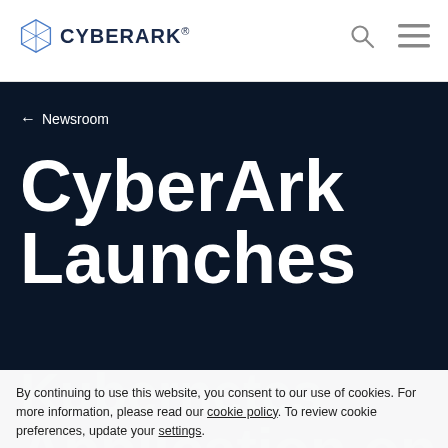[Figure (logo): CyberArk logo with geometric cube icon and CYBERARK wordmark]
CyberArk navigation header with search and menu icons
← Newsroom
CyberArk Launches Kubernetes Application on Google Cloud
By continuing to use this website, you consent to our use of cookies. For more information, please read our cookie policy. To review cookie preferences, update your settings.